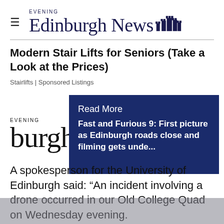Edinburgh Evening News
Modern Stair Lifts for Seniors (Take a Look at the Prices)
Stairlifts | Sponsored Listings
[Figure (other): Read More box overlay with Edinburgh Evening News logo behind. Blue box contains 'Read More' heading and article link: 'Fast and Furious 9: First picture as Edinburgh roads close and filming gets unde...']
A spokesperson for the University of Edinburgh said: “An incident involving a drone occurred in our Old College Quad on Wednesday evening.